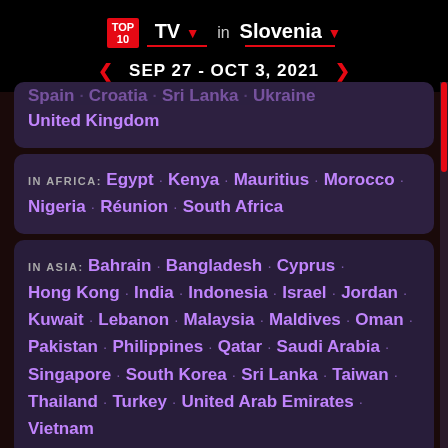TOP 10 TV in Slovenia — SEP 27 - OCT 3, 2021
Spain · Croatia · Sri Lanka · Ukraine · United Kingdom
IN AFRICA: Egypt · Kenya · Mauritius · Morocco · Nigeria · Réunion · South Africa
IN ASIA: Bahrain · Bangladesh · Cyprus · Hong Kong · India · Indonesia · Israel · Jordan · Kuwait · Lebanon · Malaysia · Maldives · Oman · Pakistan · Philippines · Qatar · Saudi Arabia · Singapore · South Korea · Sri Lanka · Taiwan · Thailand · Turkey · United Arab Emirates · Vietnam
IN OCEANIA: Australia · New Caledonia ·